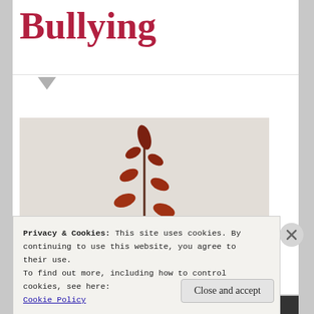Bullying
[Figure (photo): A close-up photo of a dark red plant sprig with small elongated leaves arranged alternately along a stem, against a light gray/white textured background.]
Privacy & Cookies: This site uses cookies. By continuing to use this website, you agree to their use.
To find out more, including how to control cookies, see here:
Cookie Policy
Close and accept